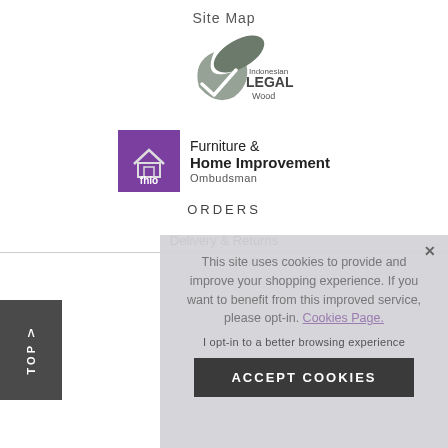Site Map
[Figure (logo): Indonesian Legal Wood certification logo - a leaf and checkmark with text 'Indonesian LEGAL Wood']
[Figure (logo): fhio (Furniture & Home Improvement Ombudsman) logo with purple badge and text]
ORDERS
Delivery & Returns
[Figure (screenshot): Cookie consent overlay with text: 'This site uses cookies to provide and improve your shopping experience. If you want to benefit from this improved service, please opt-in. Cookies Page.' with 'I opt-in to a better browsing experience' and 'ACCEPT COOKIES' button]
TOP